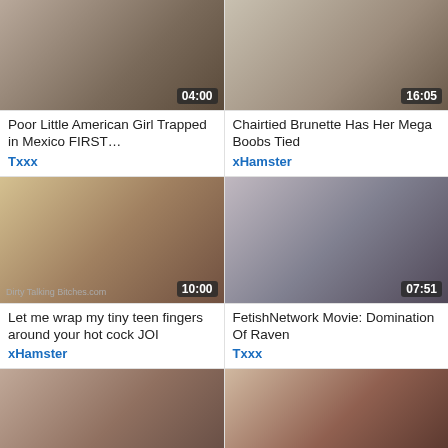[Figure (screenshot): Video thumbnail top-left with duration 04:00]
Poor Little American Girl Trapped in Mexico FIRST…
Txxx
[Figure (screenshot): Video thumbnail top-right with duration 16:05]
Chairtied Brunette Has Her Mega Boobs Tied
xHamster
[Figure (screenshot): Video thumbnail middle-left with duration 10:00, watermark Dirty Talking Bitches.com]
Let me wrap my tiny teen fingers around your hot cock JOI
xHamster
[Figure (screenshot): Video thumbnail middle-right with duration 07:51]
FetishNetwork Movie: Domination Of Raven
Txxx
[Figure (screenshot): Video thumbnail bottom-left with duration 08:51, brand ClubB]
Brunette teen fucks submissive MILF with strap on
[Figure (screenshot): Video thumbnail bottom-right with duration 07:05, watermark www.thepa...ies.com]
Hardcore bdsm and electric punishments of naughty fetish…